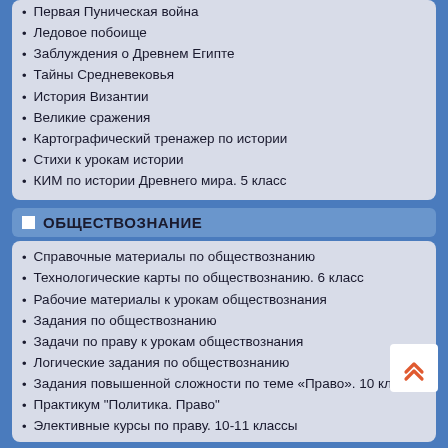Первая Пуническая война
Ледовое побоище
Заблуждения о Древнем Египте
Тайны Средневековья
История Византии
Великие сражения
Картографический тренажер по истории
Стихи к урокам истории
КИМ по истории Древнего мира. 5 класс
ОБЩЕСТВОЗНАНИЕ
Справочные материалы по обществознанию
Технологические карты по обществознанию. 6 класс
Рабочие материалы к урокам обществознания
Задания по обществознанию
Задачи по праву к урокам обществознания
Логические задания по обществознанию
Задания повышенной сложности по теме «Право». 10 класс
Практикум "Политика. Право"
Элективные курсы по праву. 10-11 классы
ЭКОНОМИКА
Подросткам о финансах
Инфляция